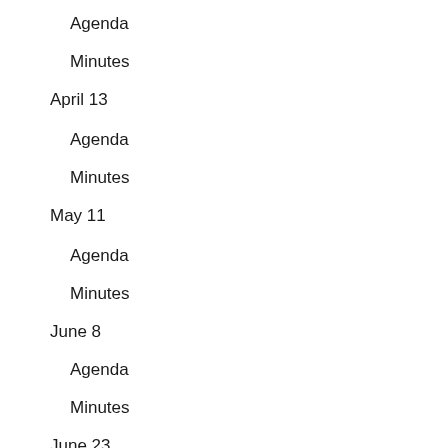Agenda
Minutes
April 13
Agenda
Minutes
May 11
Agenda
Minutes
June 8
Agenda
Minutes
June 23
Agenda
Minutes
July 13